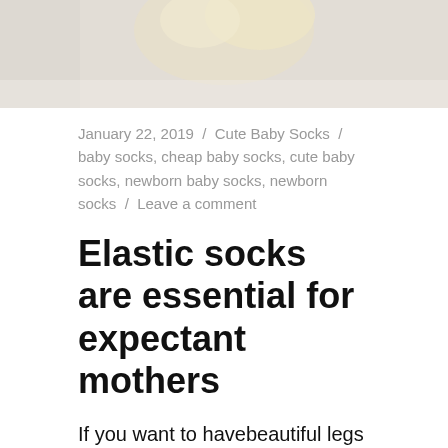[Figure (photo): Partial photo of a yellow baby sock or similar baby item on a light background]
January 22, 2019  /  Cute Baby Socks  /  baby socks, cheap baby socks, cute baby socks, newborn baby socks, newborn socks  /  Leave a comment
Elastic socks are essential for expectant mothers
If you want to havebeautiful legs after giving birth, you had better begin leg maintenance from beingpregnant. Massage is basic step, and wearing elastic cute baby socks is the best way.